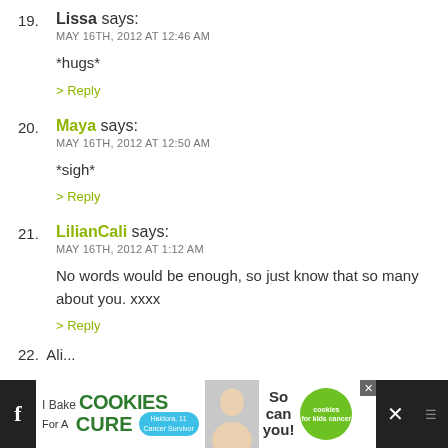19. Lissa says: MAY 16TH, 2012 AT 12:46 AM
*hugs*
> Reply
20. Maya says: MAY 16TH, 2012 AT 12:50 AM
*sigh*
> Reply
21. LilianCali says: MAY 16TH, 2012 AT 1:12 AM
No words would be enough, so just know that so many about you. xxxx
> Reply
22. Ali...
[Figure (screenshot): Advertisement banner at bottom: 'I Bake COOKIES For A CURE' with green text and cookie-themed branding, featuring a girl photo, So can you! badge, and close/social icons on dark background]